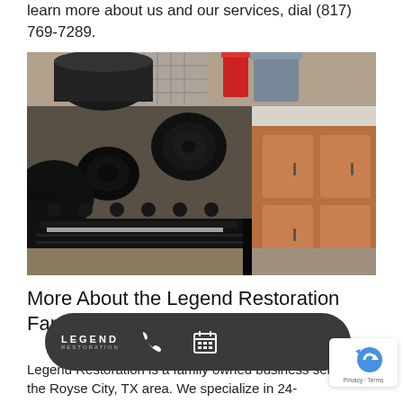learn more about us and our services, dial (817) 769-7289.
[Figure (photo): A fire-damaged kitchen stove/range with heavy black soot and char covering the stovetop, burners, knobs, and surrounding counter area. Burnt pots and pans are visible. Wooden cabinets and a dishwasher rack are visible in the background.]
More About the Legend Restoration Family
Legend Restoration is a family owned business servicing the Royse City, TX area. We specialize in 24-